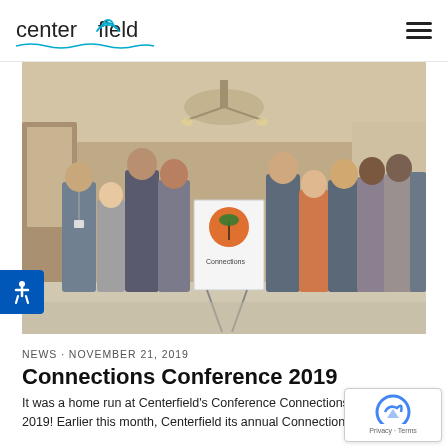centerfield [logo]
[Figure (photo): Group photo of approximately 10 Centerfield employees standing in a hotel lobby in front of a 'Connections' branded sign on an easel. The sign features a palm tree and orange sun logo.]
NEWS · NOVEMBER 21, 2019
Connections Conference 2019
It was a home run at Centerfield's Conference Connections 2019! Earlier this month, Centerfield its annual Connections...